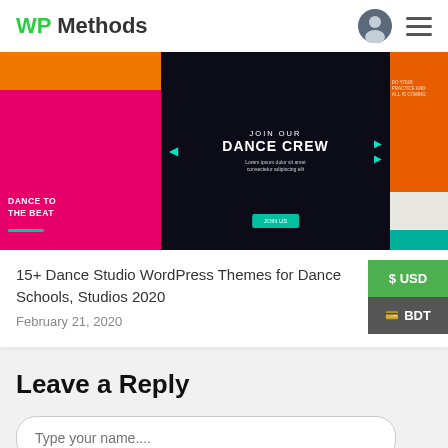WP Methods
[Figure (screenshot): Dance studio WordPress themes showcase with three thumbnail images: left shows pink/red background with 'DANCE TO THE BEAT' text, center shows dancers with 'JOIN OUR DANCE CREW' overlay, right shows orange background with yoga/meditation imagery]
15+ Dance Studio WordPress Themes for Dance Schools, Studios 2020
February 21, 2020
Leave a Reply